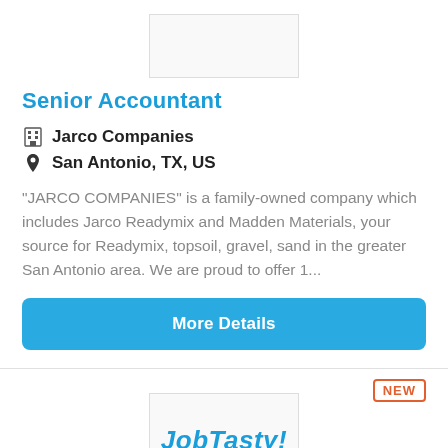[Figure (logo): Company logo placeholder rectangle at top]
Senior Accountant
🏢 Jarco Companies
📍 San Antonio, TX, US
"JARCO COMPANIES" is a family-owned company which includes Jarco Readymix and Madden Materials, your source for Readymix, topsoil, gravel, sand in the greater San Antonio area. We are proud to offer 1...
More Details
NEW
[Figure (logo): JobTasty logo in blue italic bold text]